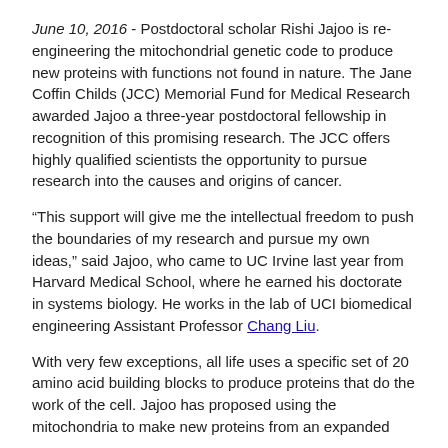June 10, 2016 - Postdoctoral scholar Rishi Jajoo is re-engineering the mitochondrial genetic code to produce new proteins with functions not found in nature. The Jane Coffin Childs (JCC) Memorial Fund for Medical Research awarded Jajoo a three-year postdoctoral fellowship in recognition of this promising research. The JCC offers highly qualified scientists the opportunity to pursue research into the causes and origins of cancer.
“This support will give me the intellectual freedom to push the boundaries of my research and pursue my own ideas,” said Jajoo, who came to UC Irvine last year from Harvard Medical School, where he earned his doctorate in systems biology. He works in the lab of UCI biomedical engineering Assistant Professor Chang Liu.
With very few exceptions, all life uses a specific set of 20 amino acid building blocks to produce proteins that do the work of the cell. Jajoo has proposed using the mitochondria to make new proteins from an expanded (more than the usual 20) set of amino acids, drawing on those synthesized in the lab. He is also planning